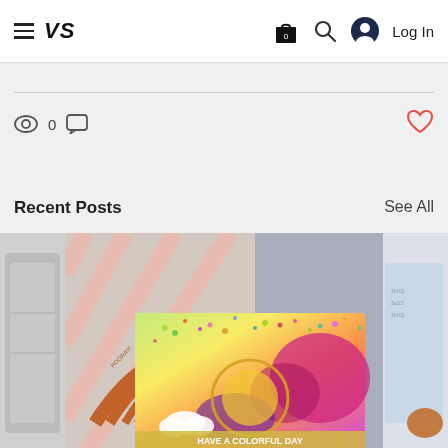VS  0  Log In
0
Recent Posts
See All
[Figure (photo): Partial view of a crafting card image on the left edge]
[Figure (photo): Center image showing rainbow die cuts and a colorful splatter card reading HAVE A COLORFUL DAY]
[Figure (photo): Partial view of a crafting card on the right edge]